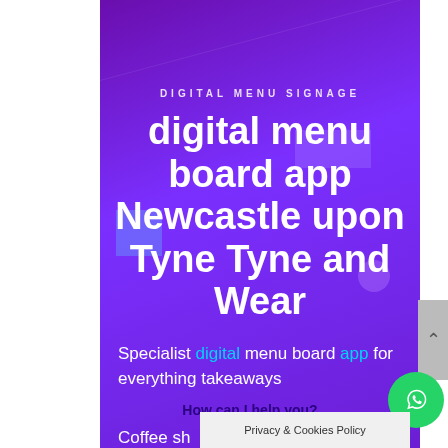DIGITAL MENU SIGNAGE
digital menu board app Newcastle upon Tyne Tyne and Wear
Specialist digital menu board app for everything takeaways
How can I help you?
Coffee sh...
Privacy & Cookies Policy